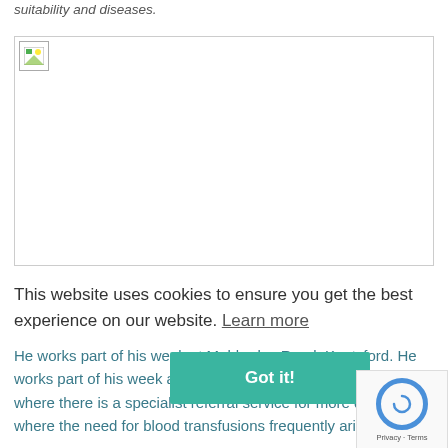suitability and diseases.
[Figure (photo): A broken/missing image placeholder shown as a small icon in the top-left of a bordered rectangle, representing a photo related to veterinary content.]
This website uses cookies to ensure you get the best experience on our website. Learn more
He works part of his week at Mobberley Road, Knutsford. He works part of his week at Willows Veterinary Hospital in Hartford where there is a specialist referral service for more difficult cases where the need for blood transfusions frequently arises.